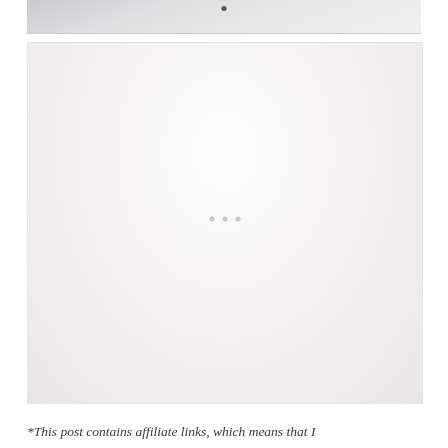[Figure (photo): Top portion of a photo showing a light grey/white snowy or misty background with a small dark dot or object near the top center]
[Figure (photo): A large mostly white/off-white photo placeholder with very faint three dots in the center, appearing to be a loading or blurred image]
*This post contains affiliate links, which means that I